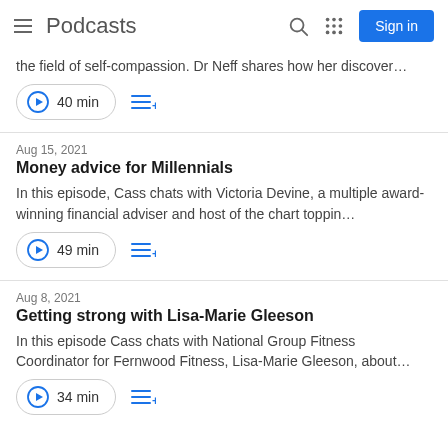Podcasts
the field of self-compassion. Dr Neff shares how her discover…
40 min
Aug 15, 2021
Money advice for Millennials
In this episode, Cass chats with Victoria Devine, a multiple award-winning financial adviser and host of the chart toppin…
49 min
Aug 8, 2021
Getting strong with Lisa-Marie Gleeson
In this episode Cass chats with National Group Fitness Coordinator for Fernwood Fitness, Lisa-Marie Gleeson, about…
34 min